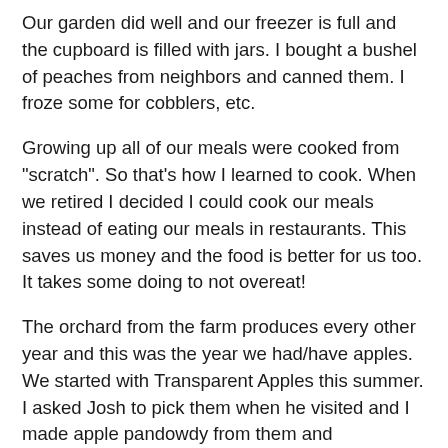Our garden did well and our freezer is full and the cupboard is filled with jars.  I bought a bushel of peaches from neighbors and canned them.  I froze some for cobblers, etc.
Growing up all of our meals were cooked from "scratch".  So that's how I learned to cook.  When we retired I decided I could cook our meals instead of eating our meals in restaurants.  This saves us money and the food is better for us too.  It takes some doing to not overeat!
The orchard from the farm produces every other year and this was the year we had/have apples.  We started with Transparent Apples this summer.  I asked Josh to pick them when he visited and I made apple pandowdy from them and applesauce too.  This fall the Spy's ripened and I froze several pies and made several other apple dishes.  The canned applesauce is also very good!   I dried apples too!  The trees still have apples on them, I wish I could climb trees like I used to when growing up!  Well, not really but I loved climbing trees and that's where the apples are still hanging!
Every year my goal has been to blog more often.  Maybe this